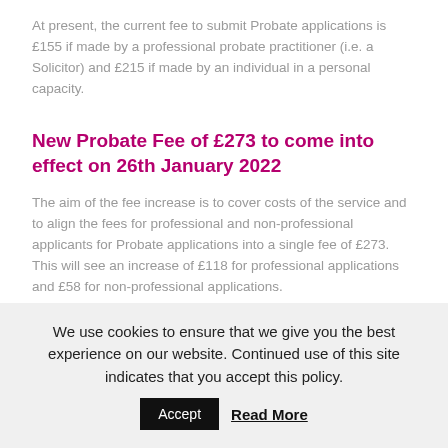At present, the current fee to submit Probate applications is £155 if made by a professional probate practitioner (i.e. a Solicitor) and £215 if made by an individual in a personal capacity.
New Probate Fee of £273 to come into effect on 26th January 2022
The aim of the fee increase is to cover costs of the service and to align the fees for professional and non-professional applicants for Probate applications into a single fee of £273. This will see an increase of £118 for professional applications and £58 for non-professional applications.
The fee will be a set amount not dependant on the value of
We use cookies to ensure that we give you the best experience on our website. Continued use of this site indicates that you accept this policy.